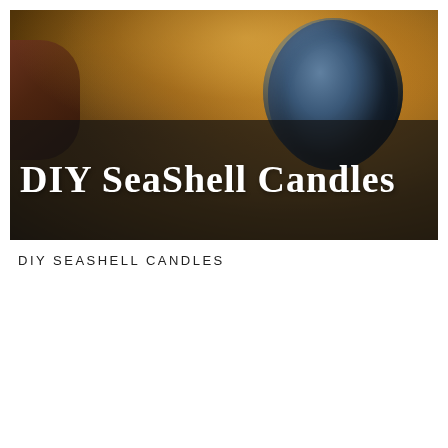[Figure (photo): Photo of seashells on sandy beach with warm golden light, featuring a round dark-blue shell on the right and a dark semi-transparent overlay band across the lower portion containing the title text 'DIY SeaShell Candles' in white serif font]
DIY SEASHELL CANDLES